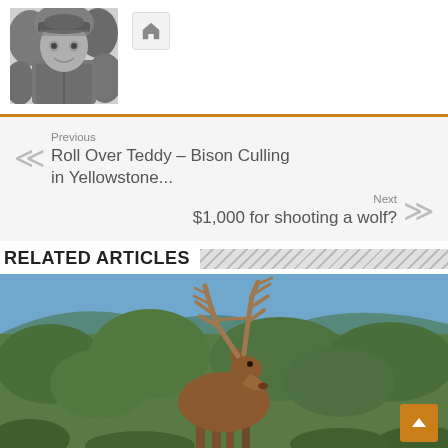[Figure (photo): Black and white photo of a man wearing a cap, outdoors in nature]
[Figure (other): Home icon button]
Previous
Roll Over Teddy – Bison Culling in Yellowstone...
Next
$1,000 for shooting a wolf?
RELATED ARTICLES
[Figure (photo): Large bull elk with impressive antlers standing outdoors with blurred green foliage background]